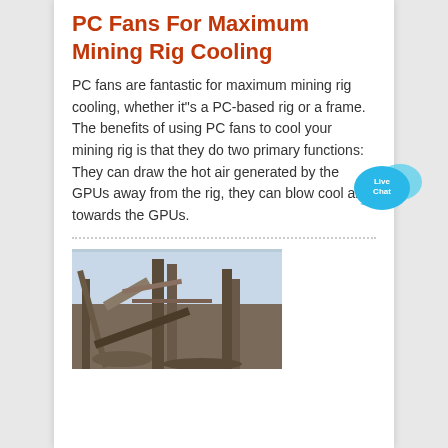PC Fans For Maximum Mining Rig Cooling
PC fans are fantastic for maximum mining rig cooling, whether it"s a PC-based rig or a frame. The benefits of using PC fans to cool your mining rig is that they do two primary functions: They can draw the hot air generated by the GPUs away from the rig, they can blow cool air towards the GPUs.
[Figure (illustration): Live Chat speech bubble icon in blue]
[Figure (photo): Industrial mining equipment or machinery outdoors]